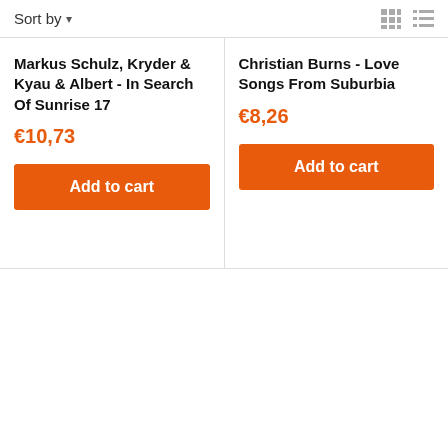Sort by
Markus Schulz, Kryder & Kyau & Albert - In Search Of Sunrise 17
€10,73
Add to cart
Christian Burns - Love Songs From Suburbia
€8,26
Add to cart